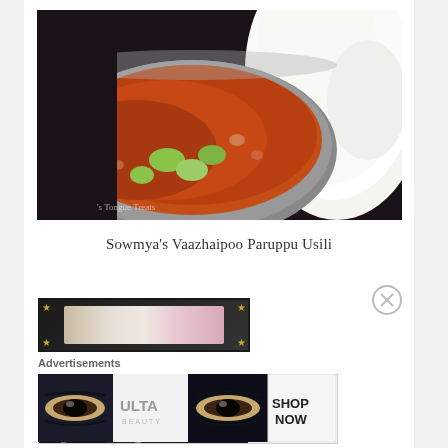[Figure (photo): Close-up photo of Indian curry (Vaazhaipoo Paruppu Usili) in a steel bowl with green vegetables and white rice on the right side. Watermark text reads 's Tongue Treats'.]
Sowmya's Vaazhaipoo Paruppu Usili
[Figure (photo): Small banner advertisement image with star corner decorations showing food/baking related photo with pink and beige tones.]
Advertisements
[Figure (photo): Ulta Beauty advertisement strip showing red lips, makeup brush, eye with dark makeup, ULTA BEAUTY logo, eye with dark makeup, and SHOP NOW call to action.]